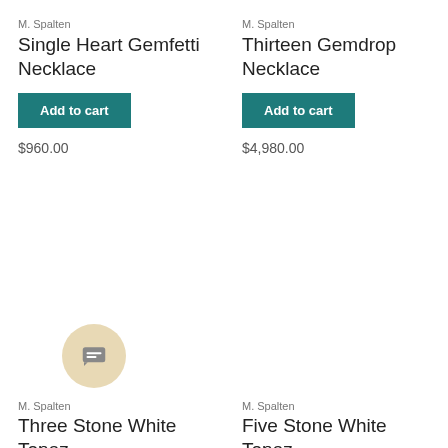M. Spalten
Single Heart Gemfetti Necklace
Add to cart
$960.00
M. Spalten
Thirteen Gemdrop Necklace
Add to cart
$4,980.00
M. Spalten
Three Stone White Topaz
M. Spalten
Five Stone White Topaz